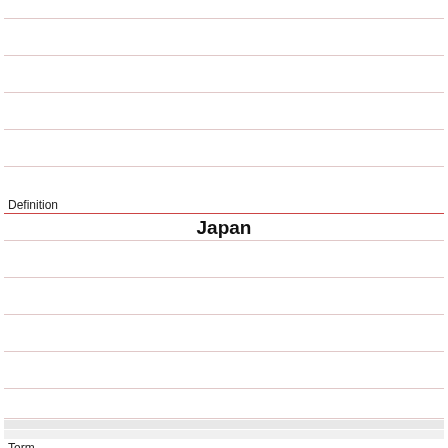Definition
Japan
Term
Which of the following foreign powers persuaded the